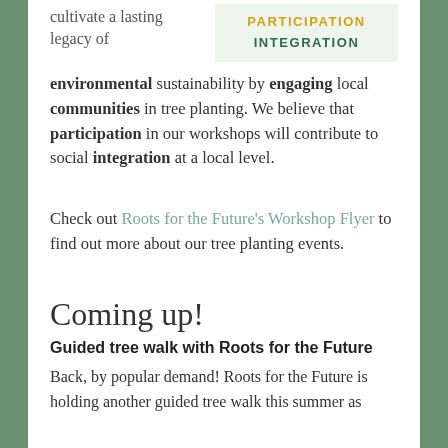cultivate a lasting legacy of
[Figure (other): Keyword box with PARTICIPATION in yellow and INTEGRATION in dark green on light green background]
environmental sustainability by engaging local communities in tree planting. We believe that participation in our workshops will contribute to social integration at a local level.
Check out Roots for the Future's Workshop Flyer to find out more about our tree planting events.
Coming up!
Guided tree walk with Roots for the Future
Back, by popular demand! Roots for the Future is holding another guided tree walk this summer as